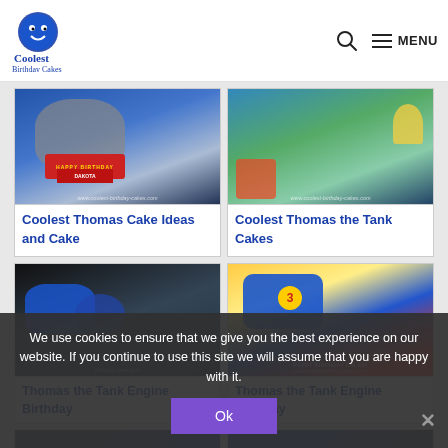Coolest Birthday Cakes — MENU
[Figure (photo): Thomas the Tank Engine cake with 'Happy Birthday Dakota' text, blue and grey cake]
Coolest Thomas Cake Ideas and Cake
[Figure (photo): Thomas the Tank Engine scene cake with figures and colorful background]
Coolest Thomas the Tank Cakes
[Figure (photo): 3D Thomas the Tank Engine sculpted birthday cake, dark background]
Thomas the Tank Engine Birthday
[Figure (photo): Flat Thomas the Tank Engine cake with number 3 and 'Happy Birthday Caleb' text]
Thomas the Tank Engine Birthday
[Figure (photo): Thomas cake partially visible at bottom row]
[Figure (photo): Thomas cake partially visible at bottom row right]
We use cookies to ensure that we give you the best experience on our website. If you continue to use this site we will assume that you are happy with it.
Ok